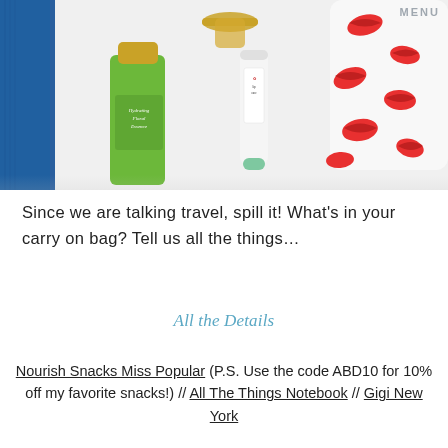MENU
[Figure (photo): Flat lay photo of beauty and travel products on a white surface: a green tata harper hydrating floral essence bottle, a white tube with green cap, a blue notebook, a gold door handle, and a white case with red lip prints pattern.]
Since we are talking travel, spill it! What's in your carry on bag? Tell us all the things…
All the Details
Nourish Snacks Miss Popular (P.S. Use the code ABD10 for 10% off my favorite snacks!) // All The Things Notebook // Gigi New York